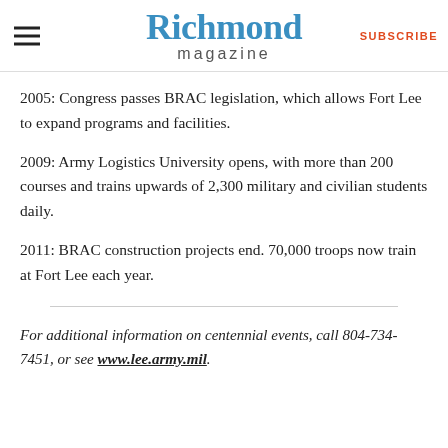Richmond magazine | SUBSCRIBE
2005: Congress passes BRAC legislation, which allows Fort Lee to expand programs and facilities.
2009: Army Logistics University opens, with more than 200 courses and trains upwards of 2,300 military and civilian students daily.
2011: BRAC construction projects end. 70,000 troops now train at Fort Lee each year.
For additional information on centennial events, call 804-734-7451, or see www.lee.army.mil.